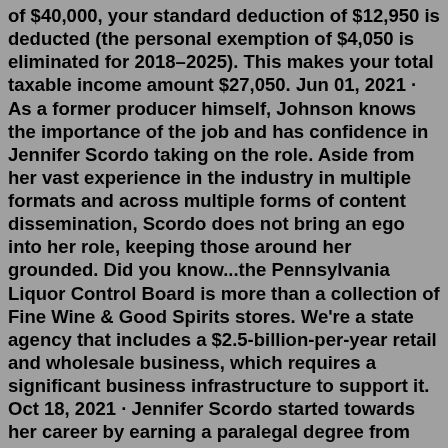of $40,000, your standard deduction of $12,950 is deducted (the personal exemption of $4,050 is eliminated for 2018–2025). This makes your total taxable income amount $27,050. Jun 01, 2021 · As a former producer himself, Johnson knows the importance of the job and has confidence in Jennifer Scordo taking on the role. Aside from her vast experience in the industry in multiple formats and across multiple forms of content dissemination, Scordo does not bring an ego into her role, keeping those around her grounded. Did you know...the Pennsylvania Liquor Control Board is more than a collection of Fine Wine & Good Spirits stores. We're a state agency that includes a $2.5-billion-per-year retail and wholesale business, which requires a significant business infrastructure to support it. Oct 18, 2021 · Jennifer Scordo started towards her career by earning a paralegal degree from her local community college. By the time she was 18 she had managed to land a job at a law firm specializing in a range of issues from personal injury and bankruptcy